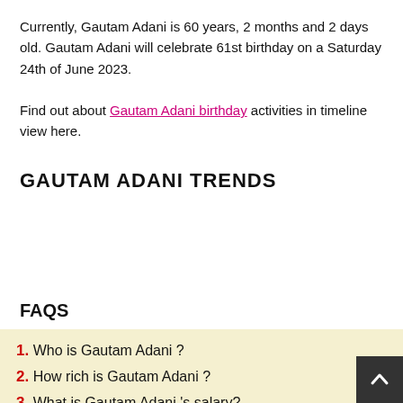Currently, Gautam Adani is 60 years, 2 months and 2 days old. Gautam Adani will celebrate 61st birthday on a Saturday 24th of June 2023.
Find out about Gautam Adani birthday activities in timeline view here.
GAUTAM ADANI TRENDS
FAQS
1. Who is Gautam Adani ?
2. How rich is Gautam Adani ?
3. What is Gautam Adani 's salary?